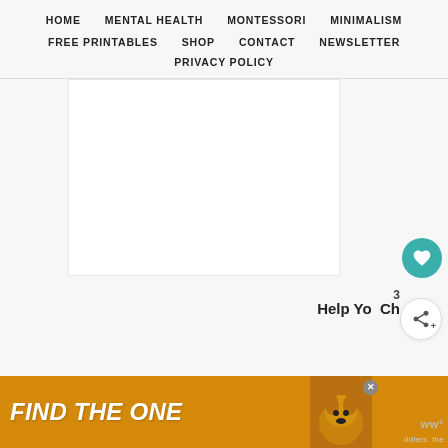HOME   MENTAL HEALTH   MONTESSORI   MINIMALISM   FREE PRINTABLES   SHOP   CONTACT   NEWSLETTER   PRIVACY POLICY
[Figure (screenshot): White content placeholder box in the center of the page]
[Figure (infographic): Floating UI buttons: teal heart button and white share button with count badge 3, and partial text 'Help Yo  Ch']
[Figure (photo): Advertisement banner with gold/yellow background showing 'FIND THE ONE' text in white italic bold font with a dog photo and close button]